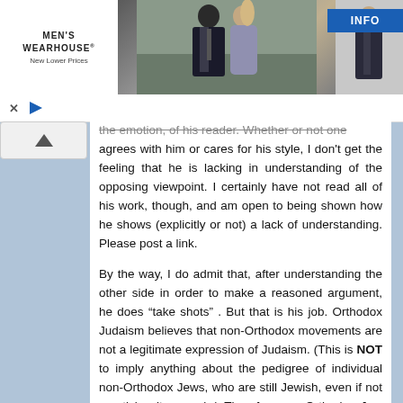[Figure (photo): Men's Wearhouse advertisement banner showing a couple (man in dark suit, woman in formal dress) and a single male figure in a suit on the right, with an INFO button. 'New Lower Prices' tagline.]
...the emotion, of his reader. Whether or not one agrees with him or cares for his style, I don't get the feeling that he is lacking in understanding of the opposing viewpoint. I certainly have not read all of his work, though, and am open to being shown how he shows (explicitly or not) a lack of understanding. Please post a link.
By the way, I do admit that, after understanding the other side in order to make a reasoned argument, he does “take shots” . But that is his job. Orthodox Judaism believes that non-Orthodox movements are not a legitimate expression of Judaism. (This is NOT to imply anything about the pedigree of individual non-Orthodox Jews, who are still Jewish, even if not practicing it properly.) Therefore, an Orthodox Jew who says XYZ...